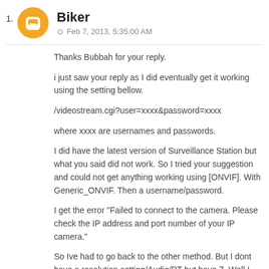1.
Biker
Feb 7, 2013, 5:35:00 AM
Thanks Bubbah for your reply.
i just saw your reply as I did eventually get it working using the setting bellow.
/videostream.cgi?user=xxxx&password=xxxx
where xxxx are usernames and passwords.
I did have the latest version of Surveillance Station but what you said did not work. So I tried your suggestion and could not get anything working using [ONVIF]. With Generic_ONVIF. Then a username/password.
I get the error "Failed to connect to the camera. Please check the IP address and port number of your IP camera."
So Ive had to go back to the other method. But I dont have a resolution setting/Audio/PT but have Z. Well I cant cant the res setting is just says use camera settings. I dont